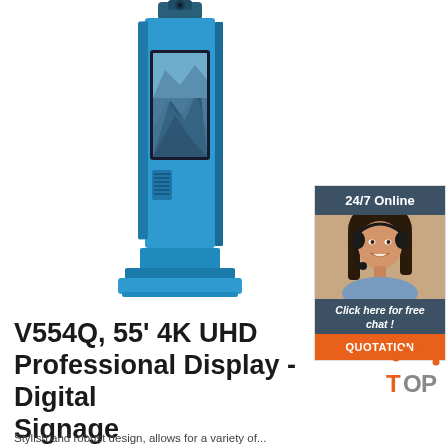[Figure (photo): Blue outdoor digital signage kiosk with a 55-inch display showing a mountain landscape. The kiosk has a tall blue enclosure on a square blue base, with a camera/sensor on top.]
[Figure (infographic): 24/7 Online chat widget with a dark blue-grey header saying '24/7 Online', a photo of a smiling woman wearing a headset, a dark footer saying 'Click here for free chat !', and an orange button labeled 'QUOTATION'.]
V554Q, 55' 4K UHD Professional Display - Digital Signage
[Figure (logo): TOP logo - orange circle with dots arranged in a triangle pattern above, with 'TOP' text in orange and grey]
Stylish and robust design, allows for a variety of...